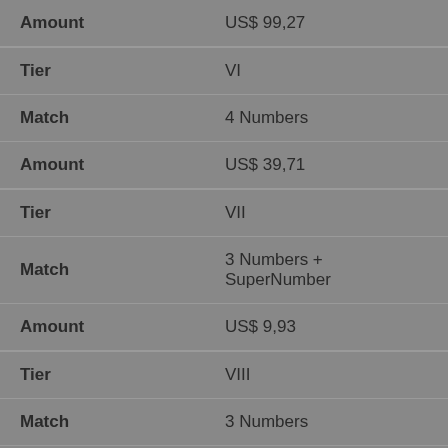| Field | Value |
| --- | --- |
| Amount | US$ 99,27 |
| Tier | VI |
| Match | 4 Numbers |
| Amount | US$ 39,71 |
| Tier | VII |
| Match | 3 Numbers + SuperNumber |
| Amount | US$ 9,93 |
| Tier | VIII |
| Match | 3 Numbers |
| Amount | US$ 4,96 |
| Tier | IX |
| Match | 2 Numbers + SuperNumber |
| Amount | US$ 2,48 |